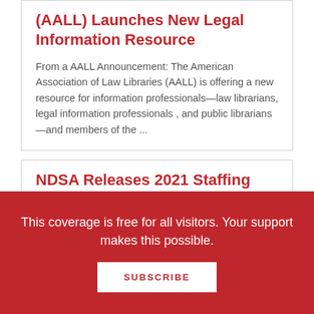(AALL) Launches New Legal Information Resource
From a AALL Announcement: The American Association of Law Libraries (AALL) is offering a new resource for information professionals—law librarians, legal information professionals , and public librarians—and members of the ...
NDSA Releases 2021 Staffing Survey Report
From the Digital Library Federation: The NDSA Staffing Survey Working Group is excited to...
This coverage is free for all visitors. Your support makes this possible.
SUBSCRIBE